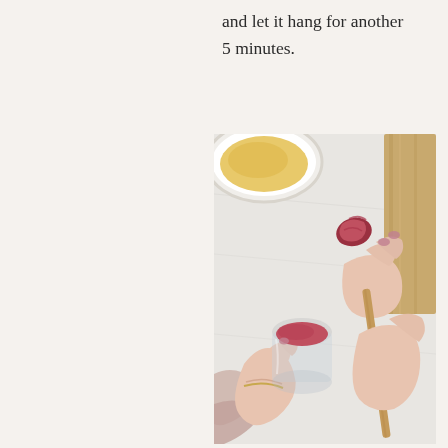and let it hang for another 5 minutes.
[Figure (photo): Overhead view of two hands — one holding a small glass jar with pink/red cream, another holding a wooden spatula with pink/red cream on it. A white bowl with yellow cream is in the upper left. A wooden board is visible on the right. The scene is set on a white marble surface with a pink cloth in the lower left.]